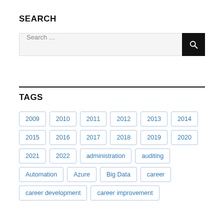SEARCH
Search …
TAGS
2009
2010
2011
2012
2013
2014
2015
2016
2017
2018
2019
2020
2021
2022
administration
auditing
Automation
Azure
Big Data
career
career development
career improvement